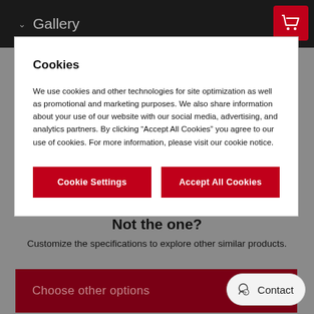Gallery
Cookies
We use cookies and other technologies for site optimization as well as promotional and marketing purposes. We also share information about your use of our website with our social media, advertising, and analytics partners. By clicking “Accept All Cookies” you agree to our use of cookies. For more information, please visit our cookie notice.
Cookie Settings
Accept All Cookies
Not the one?
Customize the specifications to explore other similar products.
Choose other options
Contact